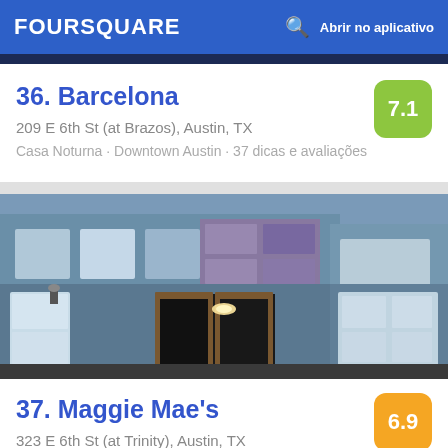FOURSQUARE  Abrir no aplicativo
36. Barcelona  7.1
209 E 6th St (at Brazos), Austin, TX
Casa Noturna · Downtown Austin · 37 dicas e avaliações
[Figure (photo): Exterior photo of Maggie Mae's bar building on 6th Street Austin, showing a blue/gray two-story building with white-framed windows and open wood-framed entrance doors lit from inside]
37. Maggie Mae's  6.9
323 E 6th St (at Trinity), Austin, TX
Bar · Downtown Austin · 91 dicas e avaliações